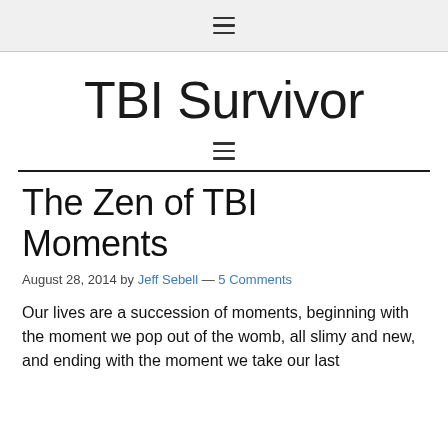≡
TBI Survivor
≡
The Zen of TBI Moments
August 28, 2014 by Jeff Sebell — 5 Comments
Our lives are a succession of moments, beginning with the moment we pop out of the womb, all slimy and new, and ending with the moment we take our last